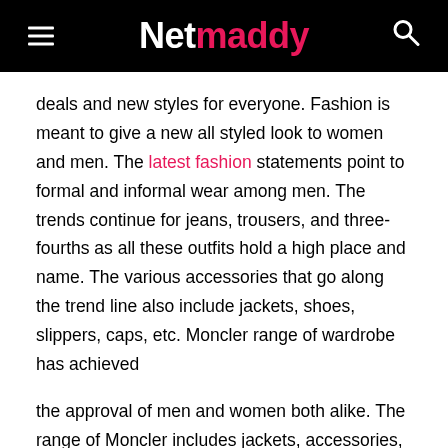Netmaddy
deals and new styles for everyone. Fashion is meant to give a new all styled look to women and men. The latest fashion statements point to formal and informal wear among men. The trends continue for jeans, trousers, and three-fourths as all these outfits hold a high place and name. The various accessories that go along the trend line also include jackets, shoes, slippers, caps, etc. Moncler range of wardrobe has achieved
the approval of men and women both alike. The range of Moncler includes jackets, accessories, sweaters, T-shirts, pants, etc. Moncler has even a full range for kids. Moncler jackets have quite made a noticeable high stance owing to the style and quality on offer. Moncler jackets for men include